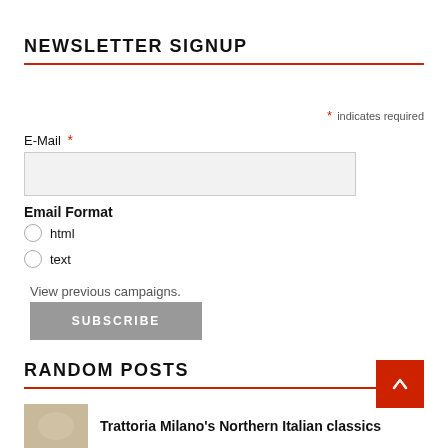NEWSLETTER SIGNUP
* indicates required
E-Mail *
Email Format
html
text
View previous campaigns.
SUBSCRIBE
RANDOM POSTS
Trattoria Milano's Northern Italian classics